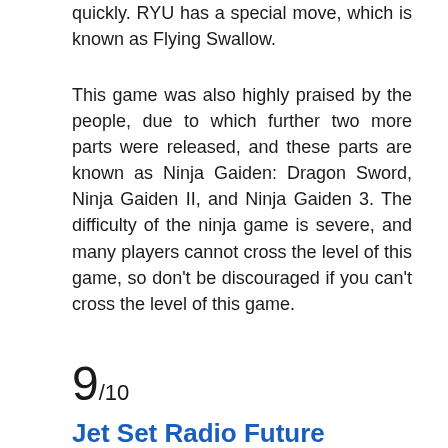quickly. RYU has a special move, which is known as Flying Swallow.
This game was also highly praised by the people, due to which further two more parts were released, and these parts are known as Ninja Gaiden: Dragon Sword, Ninja Gaiden II, and Ninja Gaiden 3. The difficulty of the ninja game is severe, and many players cannot cross the level of this game, so don't be discouraged if you can't cross the level of this game.
9/10
Jet Set Radio Future
[Figure (illustration): Colorful cartoon illustration of characters from Jet Set Radio Future game on a teal background, showing multiple animated characters in action poses with rollerblades and gear.]